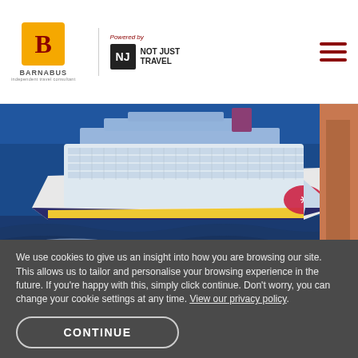[Figure (logo): Barnabus travel logo with orange B icon and 'Powered by Not Just Travel' logo]
[Figure (photo): Large cruise ship on blue ocean water with 'FULL BOARD' and 'OPEN BAR' labels overlaid in dark red rounded rectangles]
We use cookies to give us an insight into how you are browsing our site. This allows us to tailor and personalise your browsing experience in the future. If you're happy with this, simply click continue. Don't worry, you can change your cookie settings at any time. View our privacy policy.
CONTINUE